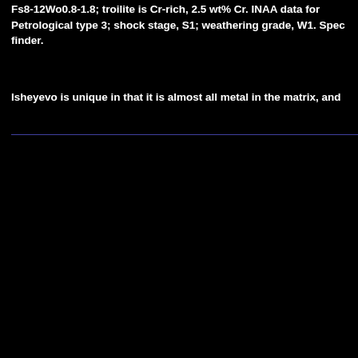Fs8-12Wo0.8-1.8; troilite is Cr-rich, 2.5 wt% Cr. INAA data for Petrological type 3; shock stage, S1; weathering grade, W1. Spec finder.
Isheyevo is unique in that it is almost all metal in the matrix, and